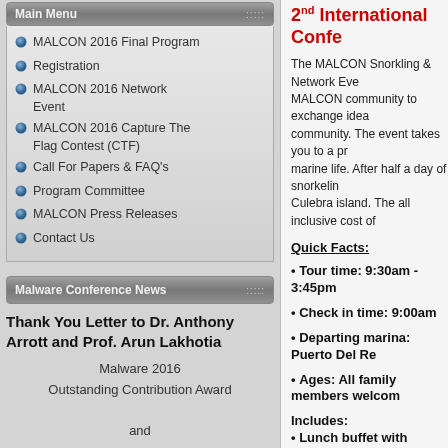Main Menu
MALCON 2016 Final Program
Registration
MALCON 2016 Network Event
MALCON 2016 Capture The Flag Contest (CTF)
Call For Papers & FAQ's
Program Committee
MALCON Press Releases
Contact Us
Malware Conference News
Thank You Letter to Dr. Anthony Arrott and Prof. Arun Lakhotia
Malware 2016 Outstanding Contribution Award

and

Thank you

Presented to
2nd International Confe...
The MALCON Snorkling & Network Eve... MALCON community to exchange idea... community. The event takes you to a p... marine life. After half a day of snorkelin... Culebra island. The all inclusive cost of...
Quick Facts:
Tour time: 9:30am - 3:45pm
Check in time: 9:00am
Departing marina: Puerto Del Re...
Ages: All family members welcom...
Includes:
Lunch buffet with options for all...
Beverages, including rum drinks...
Quality snorkeling equipment for...
Floating devices